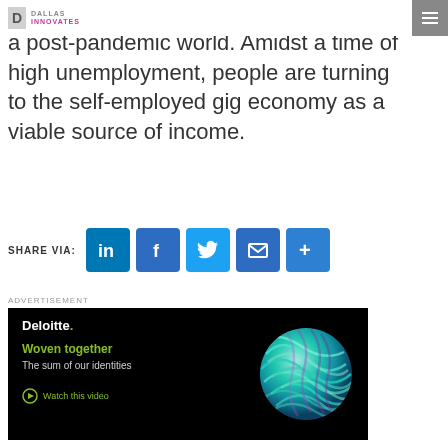Dallas Innovates
a post-pandemic world. Amidst a time of high unemployment, people are turning to the self-employed gig economy as a viable source of income.
[Figure (infographic): Share via social buttons: LinkedIn, Facebook, Twitter, Email, More]
[Figure (infographic): Deloitte advertisement: Woven together – The sum of our identities. Watch this video. Features a colorful swirling sphere on black background.]